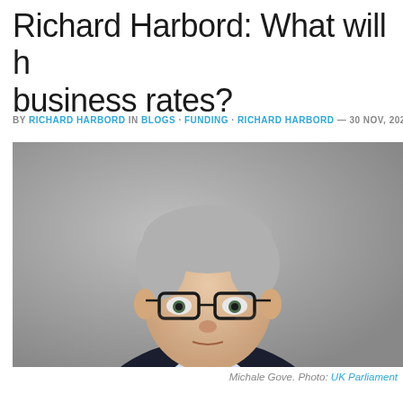Richard Harbord: What will happen to business rates?
BY RICHARD HARBORD IN BLOGS · FUNDING · RICHARD HARBORD — 30 NOV, 2021
[Figure (photo): Portrait photo of Michael Gove, a middle-aged man with grey hair wearing dark-rimmed glasses, a dark suit jacket, light blue shirt, and red tie, photographed against a grey background.]
Michale Gove. Photo: UK Parliament